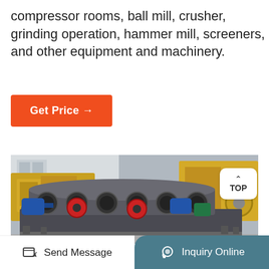compressor rooms, ball mill, crusher, grinding operation, hammer mill, screeners, and other equipment and machinery.
[Figure (other): Orange 'Get Price →' button]
[Figure (photo): Photo of industrial crushing/grinding machinery including roller crushers, jaw crushers, and yellow heavy equipment in an outdoor yard]
Send Message | Inquiry Online